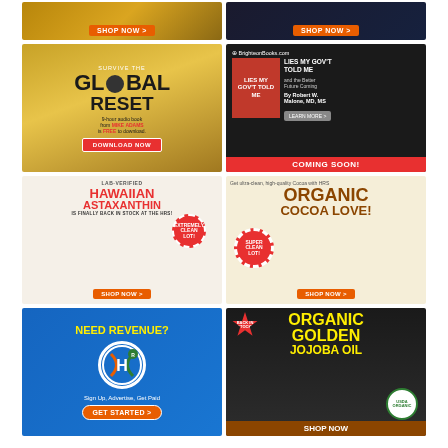[Figure (illustration): Partial view of two advertisement banners at top: left shows a product with SHOP NOW button, right shows vitamin/supplement products with SHOP NOW button]
[Figure (illustration): Survive the Global Reset advertisement - 9-hour audiobook from Mike Adams is FREE to download. Gold background with DOWNLOAD NOW button.]
[Figure (illustration): BrighteonBooks.com advertisement for 'Lies My Gov't Told Me' book by Robert W. Malone MD MS. COMING SOON! on red banner.]
[Figure (illustration): Lab-Verified Hawaiian Astaxanthin advertisement - IS FINALLY BACK IN STOCK AT THE HRS! EXTREMELY CLEAN LOT! SHOP NOW button.]
[Figure (illustration): Get ultra-clean high-quality Cocoa with HRS - ORGANIC COCOA LOVE! SUPER CLEAN LOT! SHOP NOW button.]
[Figure (illustration): NEED REVENUE? Health Ranger Store affiliate program. Sign Up, Advertise, Get Paid. GET STARTED button.]
[Figure (illustration): Organic Golden Jojoba Oil advertisement - BACK IN STOCK! USDA Organic. SHOP NOW button.]